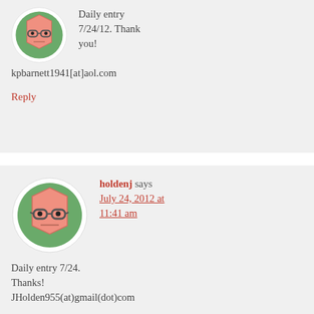[Figure (illustration): Cartoon avatar icon showing a hexagonal pink/salmon face with glasses on a green background circle, partially cropped at top]
Daily entry 7/24/12. Thank you! kpbarnett1941[at]aol.com
Reply
[Figure (illustration): Cartoon avatar icon showing a hexagonal pink/salmon face with glasses and a neutral expression on a green background inside a white circle]
holdenj says July 24, 2012 at 11:41 am
Daily entry 7/24. Thanks! JHolden955(at)gmail(dot)com